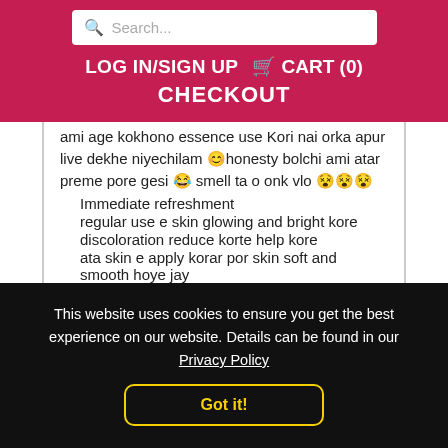Search... LOG IN/SIGN UP 🛒 CART (0) CHECKOUT
ami age kokhono essence use Kori nai orka apur live dekhe niyechilam 😊honesty bolchi ami atar preme pore gesi 😊 smell ta o onk vlo 😵😵😵
Immediate refreshment
regular use e skin glowing and bright kore
discoloration reduce korte help kore
ata skin e apply korar por skin soft and smooth hoye jay
This website uses cookies to ensure you get the best experience on our website. Details can be found in our Privacy Policy
Got it!